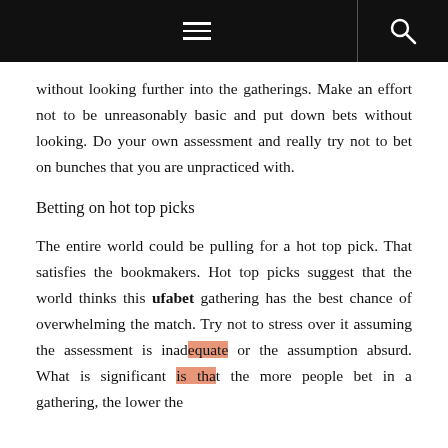without looking further into the gatherings. Make an effort not to be unreasonably basic and put down bets without looking. Do your own assessment and really try not to bet on bunches that you are unpracticed with.
Betting on hot top picks
The entire world could be pulling for a hot top pick. That satisfies the bookmakers. Hot top picks suggest that the world thinks this ufabet gathering has the best chance of overwhelming the match. Try not to stress over it assuming the assessment is inadequate or the assumption absurd. What is significant is that the more people bet in a gathering, the lower the